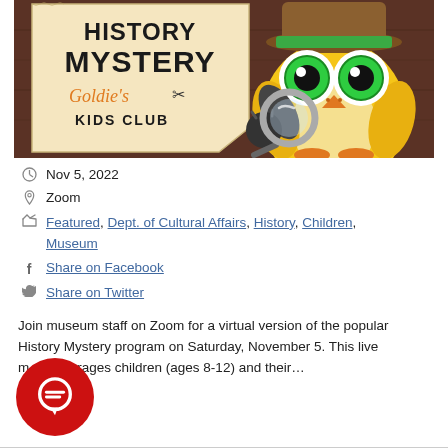[Figure (illustration): History Mystery - Goldie's Kids Club promotional banner with an illustrated owl wearing a detective hat and holding a magnifying glass, against a parchment and dark wood background]
Nov 5, 2022
Zoom
Featured, Dept. of Cultural Affairs, History, Children, Museum
Share on Facebook
Share on Twitter
Join museum staff on Zoom for a virtual version of the popular History Mystery program on Saturday, November 5. This live m...encourages children (ages 8-12) and their...